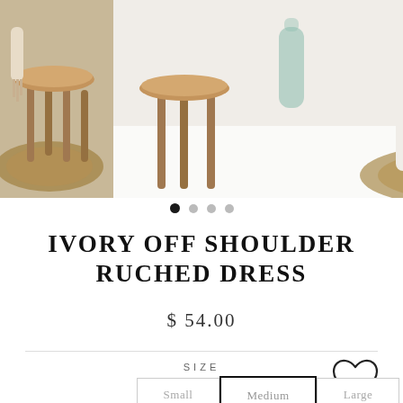[Figure (photo): Product photo carousel showing ivory off shoulder ruched dress worn by model, with wood stools and woven rug decor. Three images visible in strip.]
• • • •
IVORY OFF SHOULDER RUCHED DRESS
$ 54.00
SIZE
Small  Medium  Large